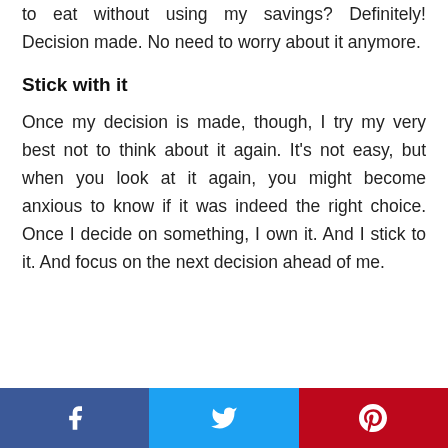to eat without using my savings? Definitely! Decision made. No need to worry about it anymore.
Stick with it
Once my decision is made, though, I try my very best not to think about it again. It's not easy, but when you look at it again, you might become anxious to know if it was indeed the right choice. Once I decide on something, I own it. And I stick to it. And focus on the next decision ahead of me.
[Figure (other): Social sharing bar with Facebook, Twitter, and Pinterest buttons]